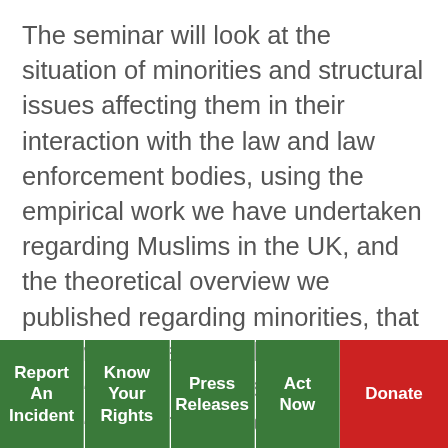The seminar will look at the situation of minorities and structural issues affecting them in their interaction with the law and law enforcement bodies, using the empirical work we have undertaken regarding Muslims in the UK, and the theoretical overview we published regarding minorities, that is consolidated in volumes 2 and 5 of the British Muslims' Expectations of the Government series. Summarized versions of these publications can be downloaded at the links below. Full reports can be ordered from www.ihrc.org.uk/catalog or by contacting the office, info@ihrc.org or 020 8904 4222.
Report An Incident | Know Your Rights | Press Releases | Act Now | Donate